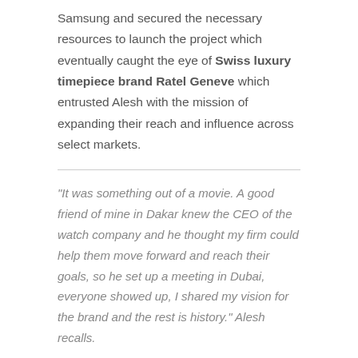Samsung and secured the necessary resources to launch the project which eventually caught the eye of Swiss luxury timepiece brand Ratel Geneve which entrusted Alesh with the mission of expanding their reach and influence across select markets.
"It was something out of a movie. A good friend of mine in Dakar knew the CEO of the watch company and he thought my firm could help them move forward and reach their goals, so he set up a meeting in Dubai, everyone showed up, I shared my vision for the brand and the rest is history." Alesh recalls.